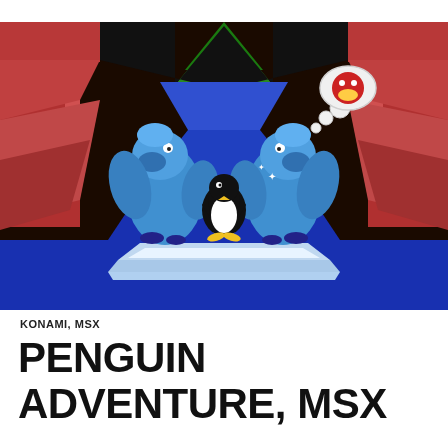[Figure (screenshot): Retro pixel-art video game screenshot from Penguin Adventure (MSX). Shows a blue ice stage with a penguin character in the center flanked by two large blue monster/dragon creatures. Background features red rocky columns and a green triangular shape at top. A thought bubble with a character face floats above the right monster.]
KONAMI, MSX
PENGUIN ADVENTURE, MSX